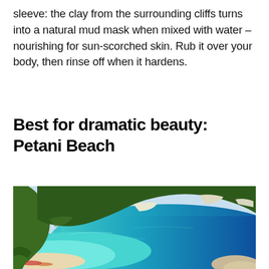sleeve: the clay from the surrounding cliffs turns into a natural mud mask when mixed with water – nourishing for sun-scorched skin. Rub it over your body, then rinse off when it hardens.
Best for dramatic beauty: Petani Beach
[Figure (photo): Aerial view of Petani Beach on Kefalonia, Greece, showing dramatic green cliffs meeting turquoise and deep blue waters, with a sandy beach and beach umbrellas visible at the lower left.]